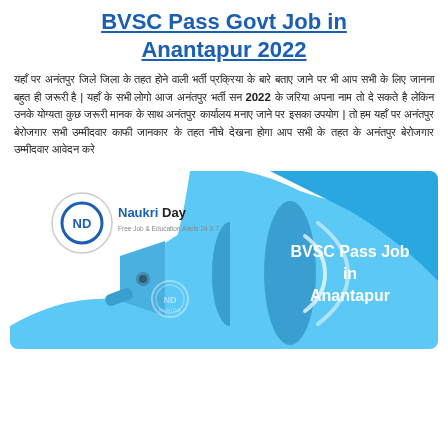BVSC Pass Govt Job in Anantapur 2022
यहाँ पर अनंतपुर जिले जिला के तहत होने वाली भर्ती प्रक्रिया के बारे बताए जाने पर भी आप सभी के लिए जानना बहुत ही जरूरी है | यहाँ के सभी लोगो आज अनंतपुर भर्ती सन 2022 के जरिया अपना नाम तो दे सकते है लेकिन उनके योग्यता कुछ जरूरी मानक के साथ अनंतपुर कार्यालय मनाए जाने पर इसका उपयोग | तो हम यहाँ पर अनंतपुर बेरोजगार सभी उम्मीदवार काफी जानकार के तहत नीचे देखना होगा आप सभी के तहत के अनंतपुर बेरोजगार उम्मीदवार आवेदन करे
[Figure (illustration): Naukri Day logo with megaphone graphic and text 'BVSC Pass Job in Anantapur' on a light blue background]